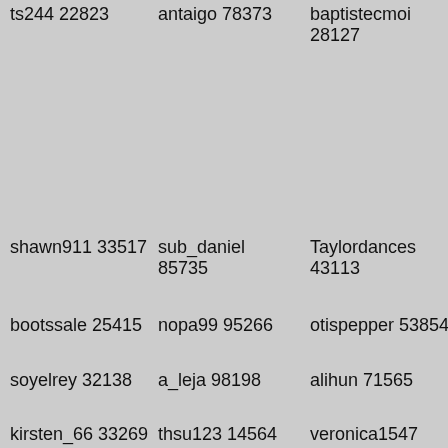ts244 22823
antaigo 78373
baptistecmoi 28127
shawn911 33517
sub_daniel 85735
Taylordances 43113
bootssale 25415
nopa99 95266
otispepper 53854
soyelrey 32138
a_leja 98198
alihun 71565
kirsten_66 33269
thsu123 14564
veronica1547 24857